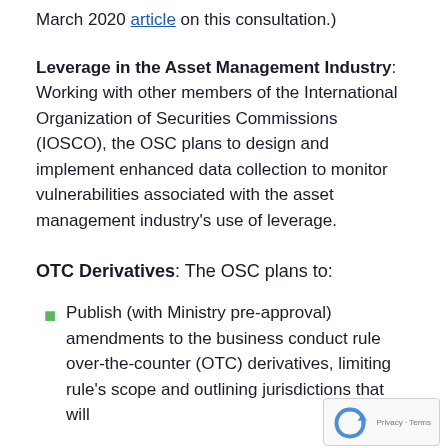March 2020 article on this consultation.)
Leverage in the Asset Management Industry: Working with other members of the International Organization of Securities Commissions (IOSCO), the OSC plans to design and implement enhanced data collection to monitor vulnerabilities associated with the asset management industry's use of leverage.
OTC Derivatives: The OSC plans to:
Publish (with Ministry pre-approval) amendments to the business conduct rule over-the-counter (OTC) derivatives, limiting rule's scope and outlining jurisdictions that will